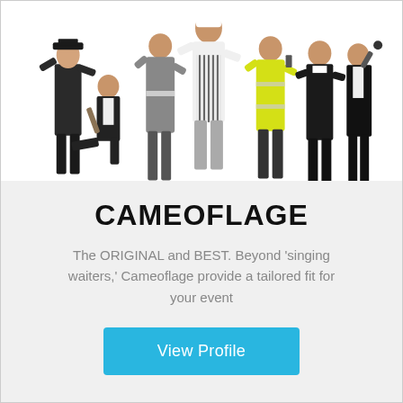[Figure (photo): Group of performers dressed in various costumes including a police officer, chef with striped apron, person in high-visibility yellow jacket, waiter/butler, and other characters, posed against a white background]
CAMEOFLAGE
The ORIGINAL and BEST. Beyond 'singing waiters,' Cameoflage provide a tailored fit for your event
View Profile